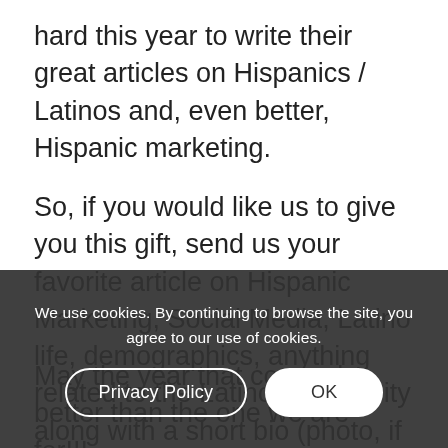hard this year to write their great articles on Hispanics / Latinos and, even better, Hispanic marketing.
So, if you would like us to give you this gift, send us your favorite article on Hispanic Marketing, Social Media, Latino life, demographics, anything related to the Latino community along with a short bio (photo, if you want) and we will do the rest!!! We'll post it, promote it and credit you for being WHO YOU ARE!!!
Thank you for participating and allowing us to give, at least a little, on this Holiday Season!!
May the year that comes be better than the one we are for!!!...
With all the Target Latino love,
We use cookies. By continuing to browse the site, you agree to our use of cookies.